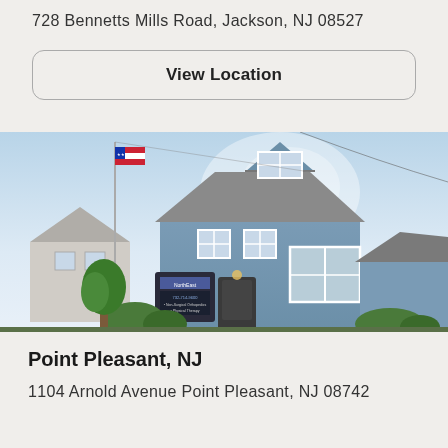728 Bennetts Mills Road, Jackson, NJ 08527
View Location
[Figure (photo): Exterior photo of a blue two-story medical office building with white trim, an American flag on a flagpole, a NorthEast medical office sign in front, and green shrubbery under a bright sky.]
Point Pleasant, NJ
1104 Arnold Avenue Point Pleasant, NJ 08742